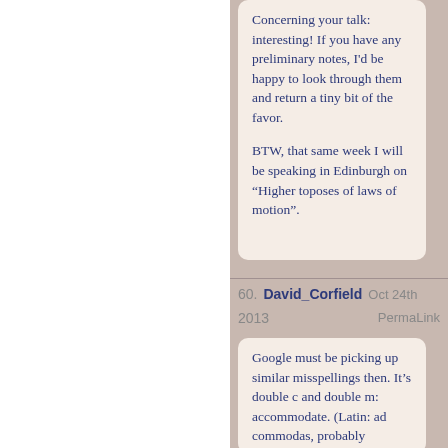Concerning your talk: interesting! If you have any preliminary notes, I'd be happy to look through them and return a tiny bit of the favor.

BTW, that same week I will be speaking in Edinburgh on “Higher toposes of laws of motion”.
60. David_Corfield  Oct 24th 2013  PermaLink
Google must be picking up similar misspellings then. It’s double c and double m: accommodate. (Latin: ad commodas, probably